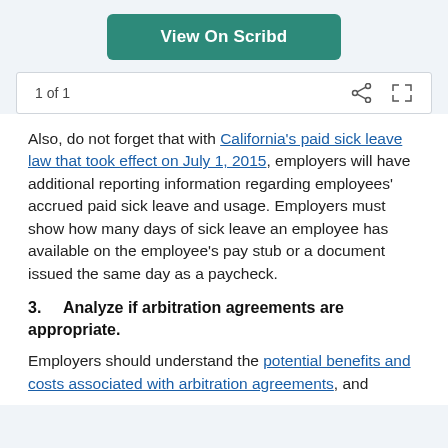[Figure (other): View On Scribd button - teal/green rounded rectangle button]
1 of 1
Also, do not forget that with California's paid sick leave law that took effect on July 1, 2015, employers will have additional reporting information regarding employees' accrued paid sick leave and usage. Employers must show how many days of sick leave an employee has available on the employee's pay stub or a document issued the same day as a paycheck.
3.    Analyze if arbitration agreements are appropriate.
Employers should understand the potential benefits and costs associated with arbitration agreements, and